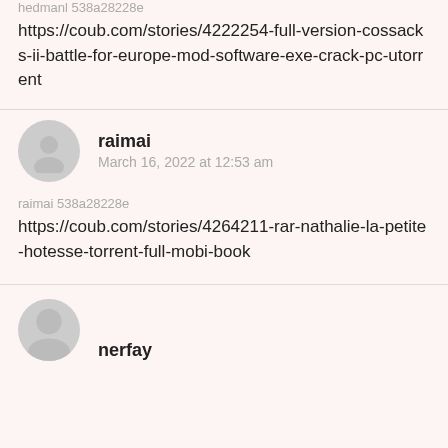hedmanl 538a28228e
https://coub.com/stories/4222254-full-version-cossacks-ii-battle-for-europe-mod-software-exe-crack-pc-utorrent
raimai
March 16, 2022 at 12:53 am
raimai 538a28228e
https://coub.com/stories/4264211-rar-nathalie-la-petite-hotesse-torrent-full-mobi-book
nerfay